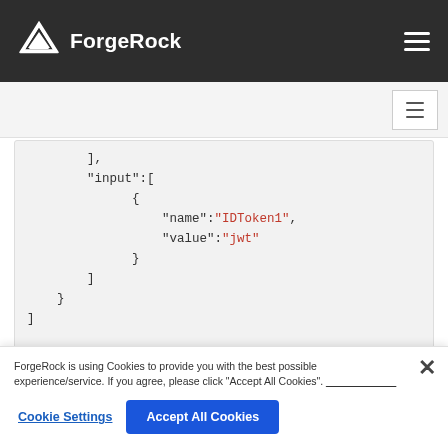ForgeRock
],
"input":[
    {
        "name":"IDToken1",
        "value":"jwt"
    }
]
}
Class to import:
com.sun.identity.authentication.callbacks.HiddenValueCallback
ForgeRock is using Cookies to provide you with the best possible experience/service. If you agree, please click "Accept All Cookies".
Cookie Settings
Accept All Cookies